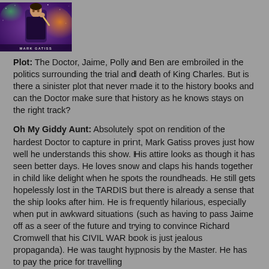[Figure (illustration): Book cover showing the Second Doctor (Mark Gatiss) with a recorder flute against a purple and orange cosmic background. Text 'MARK GATISS' visible at bottom of cover.]
Plot: The Doctor, Jaime, Polly and Ben are embroiled in the politics surrounding the trial and death of King Charles. But is there a sinister plot that never made it to the history books and can the Doctor make sure that history as he knows stays on the right track?
Oh My Giddy Aunt: Absolutely spot on rendition of the hardest Doctor to capture in print, Mark Gatiss proves just how well he understands this show. His attire looks as though it has seen better days. He loves snow and claps his hands together in child like delight when he spots the roundheads. He still gets hopelessly lost in the TARDIS but there is already a sense that the ship looks after him. He is frequently hilarious, especially when put in awkward situations (such as having to pass Jaime off as a seer of the future and trying to convince Richard Cromwell that his CIVIL WAR book is just jealous propaganda). He was taught hypnosis by the Master. He has to pay the price for travelling